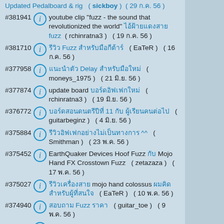Updated Pedalboard & rig ( sickboy ) ( 29 ก.ค. 56 )
#381941 youtube clip "fuzz - the sound that revolutionized the world" ไอ้ฝ้ายแดงสาย fuzz ( rchinratna3 ) ( 19 ก.ค. 56 )
#381710 รีวิว Fuzz สำหรับมือกีต้าร์ ( EaTeR ) ( 16 ก.ค. 56 )
#377958 แนะนำตัว Delay สำหรับมือใหม่ ( moneys_1975 ) ( 21 มิ.ย. 56 )
#377874 update board บอร์ดอิฟเฟกใหม่ ( rchinratna3 ) ( 19 มิ.ย. 56 )
#376772 บอร์ดสอนดนตรีปีที่ 11 กับ ผู้เรียนคนต่อไป ( guitarbeginz ) ( 4 มิ.ย. 56 )
#375884 รีวิวอิฟเฟกอย่างไม่เป็นทางการ ^^ ( Smithman ) ( 23 พ.ค. 56 )
#375452 EarthQuaker Devices Hoof Fuzz กับ Mojo Hand FX Crosstown Fuzz ( zetazaza ) ( 17 พ.ค. 56 )
#375027 รีวิวเครื่องสาย mojo hand colossus ผมคิด สำหรับผู้ที่สนใจ ( EaTeR ) ( 10 พ.ค. 56 )
#374940 สอบถาม Fuzz ราคา ( guitar_toe ) ( 9 พ.ค. 56 )
#374939 ...